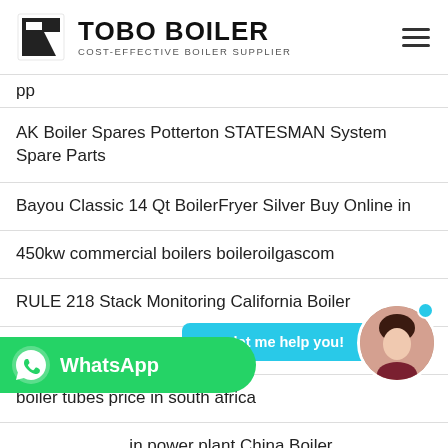TOBO BOILER — COST-EFFECTIVE BOILER SUPPLIER
AK Boiler Spares Potterton STATESMAN System Spare Parts
Bayou Classic 14 Qt BoilerFryer Silver Buy Online in
450kw commercial boilers boileroilgascom
RULE 218 Stack Monitoring California Boiler
Marcet Boiler Report Cases Boiler
boiler tubes price in south africa
in power plant China Boiler
Windhager BioWIN 150 Automatic Boiler stovepartsnet
[Figure (infographic): WhatsApp contact button overlay and chat assistant bubble with avatar photo]